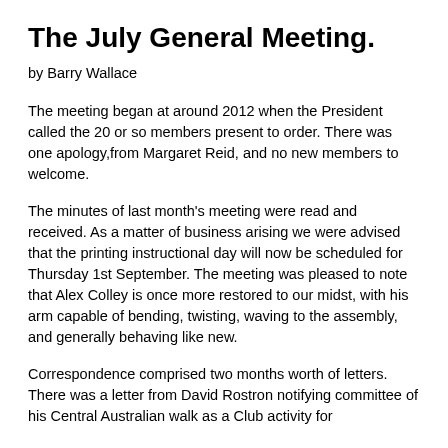The July General Meeting.
by Barry Wallace
The meeting began at around 2012 when the President called the 20 or so members present to order. There was one apology,from Margaret Reid, and no new members to welcome.
The minutes of last month's meeting were read and received. As a matter of business arising we were advised that the printing instructional day will now be scheduled for Thursday 1st September. The meeting was pleased to note that Alex Colley is once more restored to our midst, with his arm capable of bending, twisting, waving to the assembly, and generally behaving like new.
Correspondence comprised two months worth of letters. There was a letter from David Rostron notifying committee of his Central Australian walk as a Club activity for